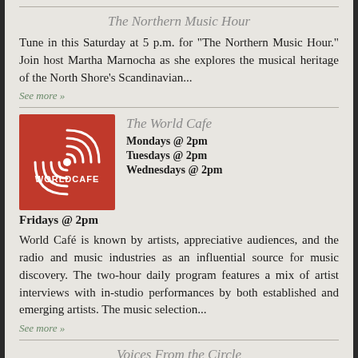The Northern Music Hour
Tune in this Saturday at 5 p.m. for "The Northern Music Hour." Join host Martha Marnocha as she explores the musical heritage of the North Shore's Scandinavian...
See more »
[Figure (logo): World Cafe logo — red square background with white concentric circle wave pattern and text WORLDCAFE]
The World Cafe
Mondays @ 2pm
Tuesdays @ 2pm
Wednesdays @ 2pm
Fridays @ 2pm
World Café is known by artists, appreciative audiences, and the radio and music industries as an influential source for music discovery. The two-hour daily program features a mix of artist interviews with in-studio performances by both established and emerging artists. The music selection...
See more »
Voices From the Circle